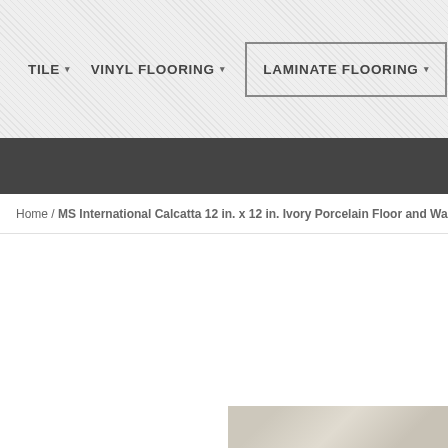TILE | VINYL FLOORING | LAMINATE FLOORING | HARDWOO...
Home / MS International Calcatta 12 in. x 12 in. Ivory Porcelain Floor and Wall Tile (1...
[Figure (photo): Partial product image of marble-look tile at bottom right of page]